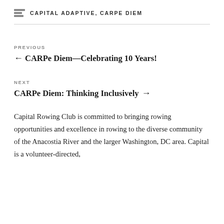CAPITAL ADAPTIVE, CARPE DIEM
PREVIOUS
← CARPe Diem—Celebrating 10 Years!
NEXT
CARPe Diem: Thinking Inclusively →
Capital Rowing Club is committed to bringing rowing opportunities and excellence in rowing to the diverse community of the Anacostia River and the larger Washington, DC area. Capital is a volunteer-directed,